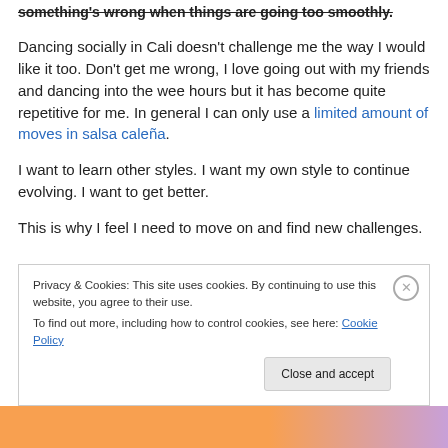something's wrong when things are going too smoothly. Dancing socially in Cali doesn't challenge me the way I would like it too. Don't get me wrong, I love going out with my friends and dancing into the wee hours but it has become quite repetitive for me. In general I can only use a limited amount of moves in salsa caleña.
I want to learn other styles. I want my own style to continue evolving. I want to get better.
This is why I feel I need to move on and find new challenges.
Privacy & Cookies: This site uses cookies. By continuing to use this website, you agree to their use. To find out more, including how to control cookies, see here: Cookie Policy